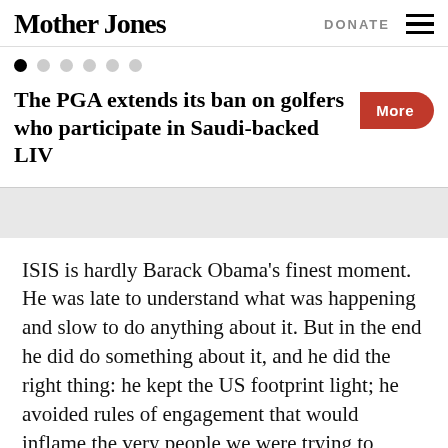Mother Jones   DONATE
[Figure (other): Carousel navigation dots — one filled black dot followed by five gray dots]
The PGA extends its ban on golfers who participate in Saudi-backed LIV
ISIS is hardly Barack Obama's finest moment. He was late to understand what was happening and slow to do anything about it. But in the end he did do something about it, and he did the right thing: he kept the US footprint light; he avoided rules of engagement that would inflame the very people we were trying to liberate; and he understood that the only route to victory lay in a slow but steady